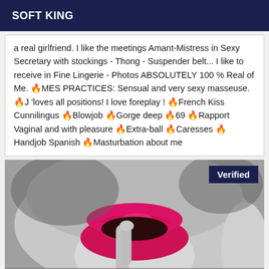SOFT KING
a real girlfriend. I like the meetings Amant-Mistress in Sexy Secretary with stockings - Thong - Suspender belt... I like to receive in Fine Lingerie - Photos ABSOLUTELY 100 % Real of Me. 🔥MES PRACTICES: Sensual and very sexy masseuse. 🔥J 'loves all positions! I love foreplay ! 🔥French Kiss Cunnilingus 🔥Blowjob 🔥Gorge deep 🔥69 🔥Rapport Vaginal and with pleasure 🔥Extra-ball 🔥Caresses 🔥Handjob Spanish 🔥Masturbation about me
[Figure (photo): Close-up black and white photo of lips with bright pink/red lipstick, with a finger touching the mouth. A 'Verified' badge appears in the top right corner.]